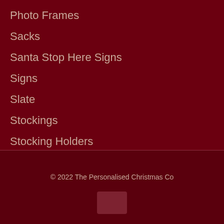Photo Frames
Sacks
Santa Stop Here Signs
Signs
Slate
Stockings
Stocking Holders
Teddies
© 2022 The Personalised Christmas Co